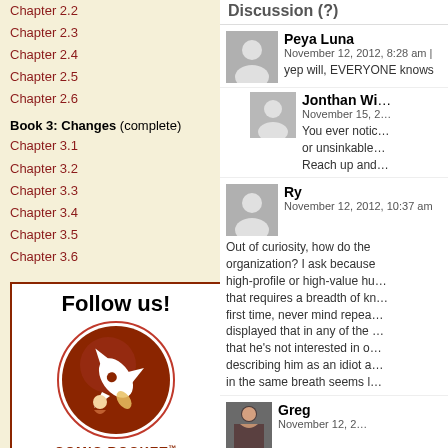Chapter 2.2
Chapter 2.3
Chapter 2.4
Chapter 2.5
Chapter 2.6
Book 3: Changes (complete)
Chapter 3.1
Chapter 3.2
Chapter 3.3
Chapter 3.4
Chapter 3.5
Chapter 3.6
[Figure (logo): Follow us! Comic Rocket logo with rocket ship in red circle]
Discussion (?)
Peya Luna
November 12, 2012, 8:28 am
yep will, EVERYONE knows
Jonthan Wi...
November 15, 2...
You ever notic... or unsinkable... Reach up and...
Ry
November 12, 2012, 10:37 am
Out of curiosity, how do the... organization? I ask because... high-profile or high-value hu... that requires a breadth of kn... first time, never mind repea... displayed that in any of the... that he's not interested in o... describing him as an idiot a... in the same breath seems l...
Greg
November 12, 2...